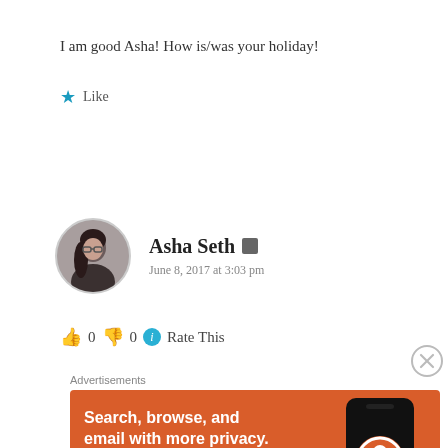I am good Asha! How is/was your holiday!
★ Like
Asha Seth [author icon] June 8, 2017 at 3:03 pm
👍 0 👎 0 ℹ Rate This
[Figure (other): Close/dismiss button (circled X)]
Advertisements
[Figure (other): DuckDuckGo advertisement banner: Search, browse, and email with more privacy. All in One Free App. Shows a phone with DuckDuckGo logo.]